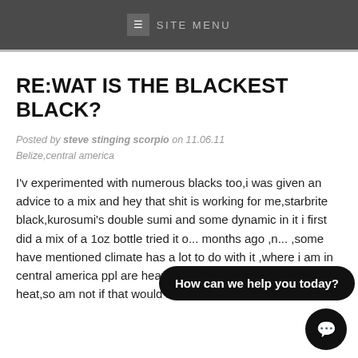SITE MENU
RE:WAT IS THE BLACKEST BLACK?
Posted by steve stinging scorpio on 11.06.11
Belize,central america
I'v experimented with numerous blacks too,i was given an advice to a mix and hey that shit is working for me,starbrite black,kurosumi's double sumi and some dynamic in it i first did a mix of a 1oz bottle tried it o... months ago ,n... ,some have mentioned climate has a lot to do with it ,where i am in central america ppl are heavily exposed to sunlight and heat,so am not if that would b a factor, and that my 2 cents to